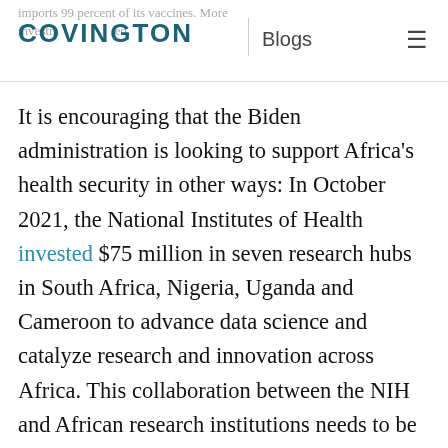imports 99 percent of its vaccines. More investm... COVINGTON | Blogs ≡
It is encouraging that the Biden administration is looking to support Africa's health security in other ways: In October 2021, the National Institutes of Health invested $75 million in seven research hubs in South Africa, Nigeria, Uganda and Cameroon to advance data science and catalyze research and innovation across Africa. This collaboration between the NIH and African research institutions needs to be accelerated as quickly as possible. The African genome is the oldest human genome, and there is more genetic diversity in Africa